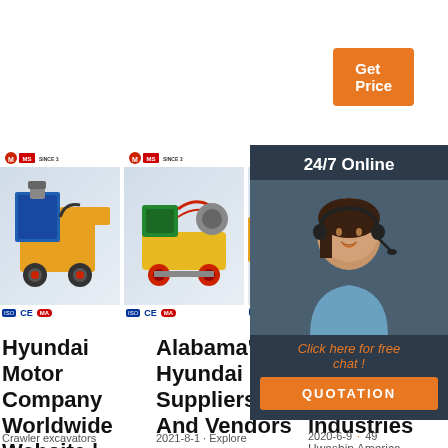[Figure (screenshot): Orange 'Get Price' button in top right]
[Figure (screenshot): Dark overlay chat panel with 24/7 Online label, customer service representative photo, 'Click here for free chat!' text, and orange QUOTATION button]
[Figure (photo): Product image 1: Yellow and blue crawler excavator/machine with MS logo since 1979, ISO, CE, MA certifications]
[Figure (photo): Product image 2: Green and yellow wheeled machine with MS logo since 1979, ISO, CE, MA certifications]
[Figure (photo): Product image 3: Partial view of third product with MS logo]
Hyundai Motor Company Worldwide Website |
Crawler excavators
Alabama's Hyundai Suppliers And Vendors
2021-8-1 · Explore
W... To... Heavy Industries
2020-6-9 · 49
Hwashin America